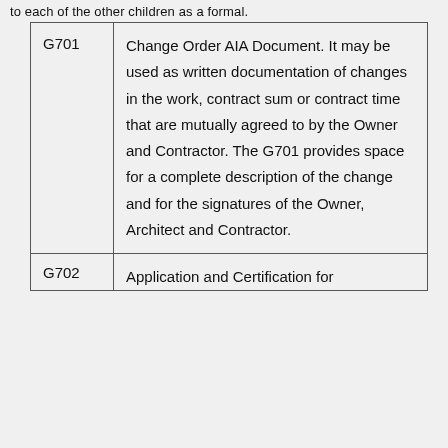to each of the other children as a formal.
| Code | Description |
| --- | --- |
| G701 | Change Order AIA Document. It may be used as written documentation of changes in the work, contract sum or contract time that are mutually agreed to by the Owner and Contractor. The G701 provides space for a complete description of the change and for the signatures of the Owner, Architect and Contractor. |
| G702 | Application and Certification for |